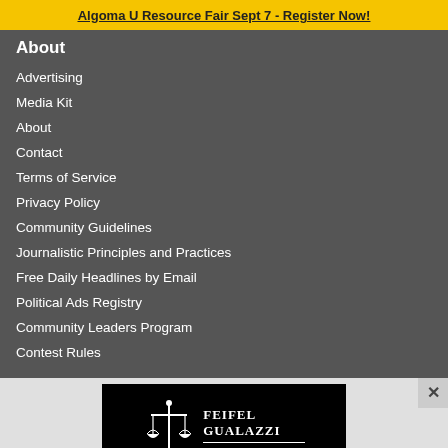Algoma U Resource Fair Sept 7 - Register Now!
About
Advertising
Media Kit
About
Contact
Terms of Service
Privacy Policy
Community Guidelines
Journalistic Principles and Practices
Free Daily Headlines by Email
Political Ads Registry
Community Leaders Program
Contest Rules
[Figure (logo): Feifel Gualazzi Personal Injury Law Firm logo with scales of justice icon on black background]